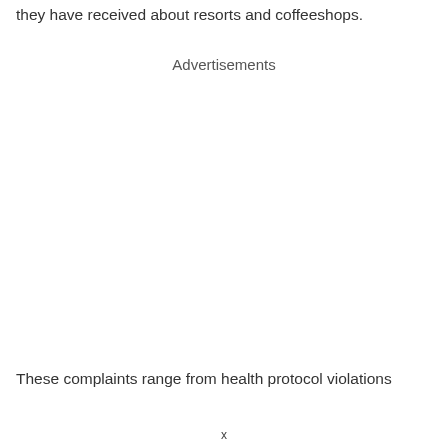they have received about resorts and coffeeshops.
Advertisements
These complaints range from health protocol violations
x